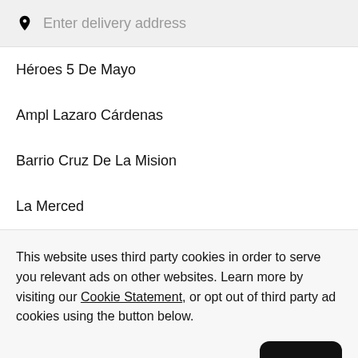Enter delivery address
Héroes 5 De Mayo
Ampl Lazaro Cárdenas
Barrio Cruz De La Mision
La Merced
This website uses third party cookies in order to serve you relevant ads on other websites. Learn more by visiting our Cookie Statement, or opt out of third party ad cookies using the button below.
Opt out
Got it